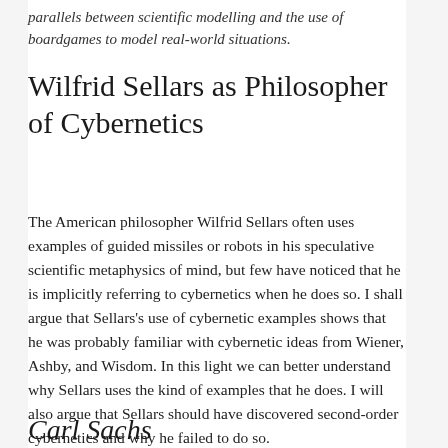parallels between scientific modelling and the use of boardgames to model real-world situations.
Wilfrid Sellars as Philosopher of Cybernetics
The American philosopher Wilfrid Sellars often uses examples of guided missiles or robots in his speculative scientific metaphysics of mind, but few have noticed that he is implicitly referring to cybernetics when he does so. I shall argue that Sellars's use of cybernetic examples shows that he was probably familiar with cybernetic ideas from Wiener, Ashby, and Wisdom. In this light we can better understand why Sellars uses the kind of examples that he does. I will also argue that Sellars should have discovered second-order cybernetics and why he failed to do so.
Carl Sachs